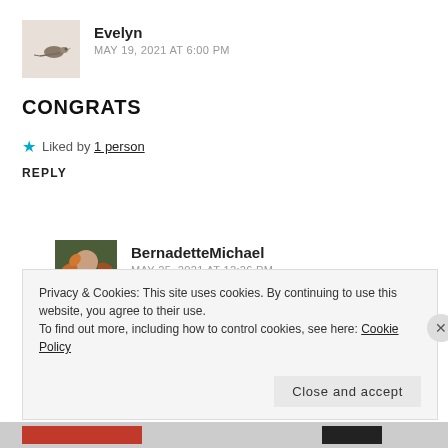[Figure (photo): Avatar thumbnail of Evelyn showing a small bird illustration on light background]
Evelyn
MAY 19, 2021 AT 6:00 PM
CONGRATS
★ Liked by 1 person
REPLY
[Figure (photo): Avatar thumbnail of BernadetteMichael showing a person partially obscured by autumn leaves]
BernadetteMichael
MAY 25, 2021 AT 12:26 PM
Privacy & Cookies: This site uses cookies. By continuing to use this website, you agree to their use.
To find out more, including how to control cookies, see here: Cookie Policy
Close and accept